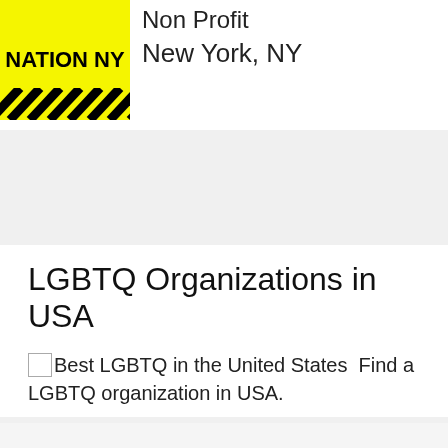[Figure (logo): NATION NY logo with yellow background and black diagonal stripes at bottom]
Non Profit
New York, NY
[Figure (other): Gray advertisement/banner band]
LGBTQ Organizations in USA
Best LGBTQ in the United States  Find a LGBTQ organization in USA.
[Figure (other): Advertising banner placeholder]
Advertising